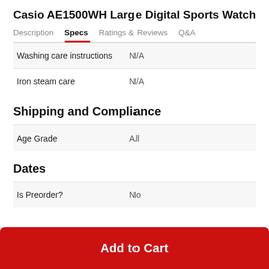Casio AE1500WH Large Digital Sports Watch
Description | Specs | Ratings & Reviews | Q&A
|  |  |
| --- | --- |
| Washing care instructions | N/A |
| Iron steam care | N/A |
Shipping and Compliance
|  |  |
| --- | --- |
| Age Grade | All |
Dates
|  |  |
| --- | --- |
| Is Preorder? | No |
Add to Cart